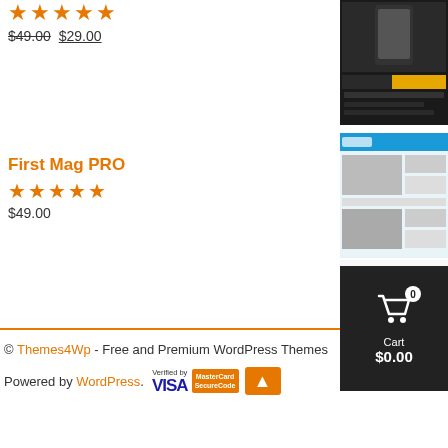$49.00 $29.00 (strikethrough on $49.00, underline on $29.00)
[Figure (screenshot): Dark themed website screenshot thumbnail, top right]
First Mag PRO
★★★★★ $49.00
[Figure (screenshot): Magazine/news website screenshot with cart overlay showing 0 items, Cart $0.00]
Alpha Store PRO
★★★★★ $49.00
[Figure (screenshot): E-commerce store website screenshot thumbnail, bottom right]
© Themes4Wp - Free and Premium WordPress Themes
Powered by WordPress. [Verified by VISA] [MasterCard SecureCode]